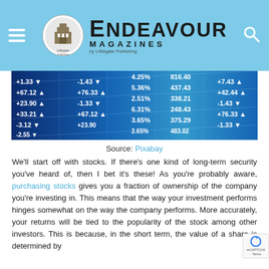Endeavour Magazines by Littlegate Publishing
[Figure (photo): Stock market ticker board showing financial data with blue background and white numbers including values like +67.12, +23.90, +33.21, -3.12, -2.55, -1.43, +76.33, -1.33, +67.12, +23.90, 4.25%, 5.36%, 2.51%, 6.31%, 3.65%, 2.65%, 816.40, 437.43, 338.21, 248.43, 375.29, 483.02, +7.43, +42.44, -1.43, +76.33, -1.33]
Source: Pixabay
We'll start off with stocks. If there's one kind of long-term security you've heard of, then I bet it's these! As you're probably aware, purchasing stocks gives you a fraction of ownership of the company you're investing in. This means that the way your investment performs hinges somewhat on the way the company performs. More accurately, your returns will be tied to the popularity of the stock among other investors. This is because, in the short term, the value of a share is determined by